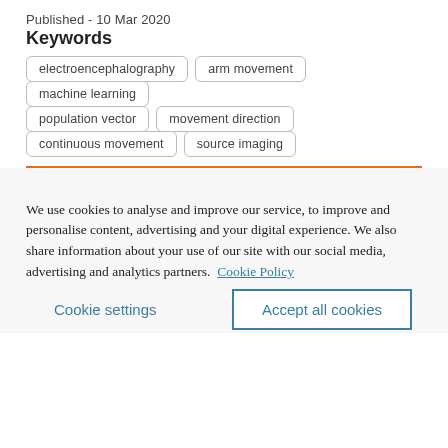Published - 10 Mar 2020
Keywords
electroencephalography
arm movement
machine learning
population vector
movement direction
continuous movement
source imaging
We use cookies to analyse and improve our service, to improve and personalise content, advertising and your digital experience. We also share information about your use of our site with our social media, advertising and analytics partners.  Cookie Policy
Cookie settings
Accept all cookies